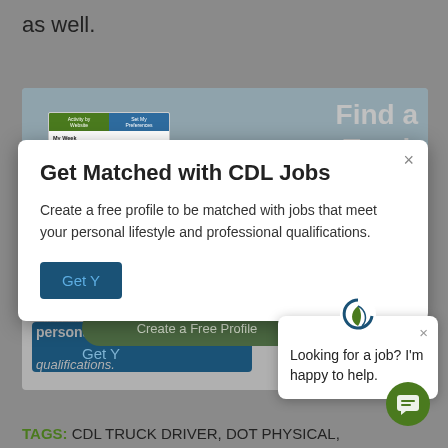as well.
[Figure (screenshot): Screenshot of a CDL job-matching website with blurred background showing 'Find a Truck Driver Job' and 'Drive My Way' text, a mini dashboard thumbnail, a blue button, and a green 'Create a Free Profile' button.]
[Figure (screenshot): Modal popup: 'Get Matched with CDL Jobs' — Create a free profile to be matched with jobs that meet your personal lifestyle and professional qualifications. Blue 'Get Y...' button.]
[Figure (screenshot): Chat popup with logo: 'Looking for a job? I'm happy to help.' with close X button. Green chat bubble button at bottom right.]
TAGS: CDL TRUCK DRIVER, DOT PHYSICAL,